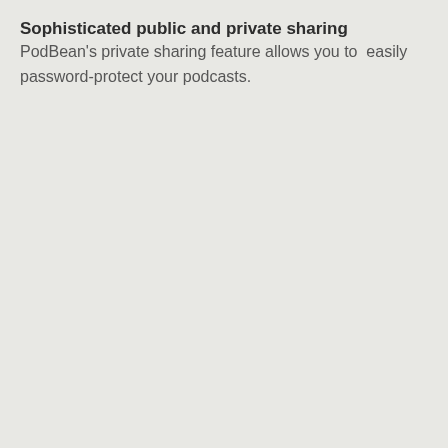Sophisticated public and private sharing
PodBean’s private sharing feature allows you to  easily password-protect your podcasts.